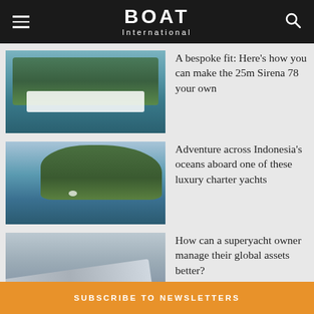BOAT International
[Figure (photo): White modern yacht moored near rocky cliffs with green trees on water]
A bespoke fit: Here's how you can make the 25m Sirena 78 your own
[Figure (photo): Aerial view of a lush green island surrounded by deep blue ocean with a small white yacht]
Adventure across Indonesia's oceans aboard one of these luxury charter yachts
[Figure (photo): Private jet aircraft from close angle showing wing and fuselage]
How can a superyacht owner manage their global assets better?
SUBSCRIBE TO NEWSLETTERS